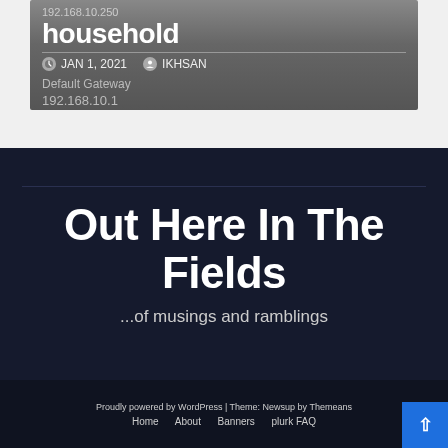[Figure (screenshot): Partial blog post card showing a title beginning with 'household', dated JAN 1, 2021 by IKHSAN, with 'Default Gateway' subtext on a grey gradient background]
Out Here In The Fields
...of musings and ramblings
Proudly powered by WordPress | Theme: Newsup by Themeans
Home    About    Banners    plurk FAQ